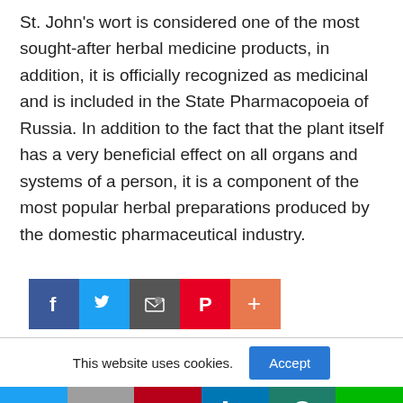St. John's wort is considered one of the most sought-after herbal medicine products, in addition, it is officially recognized as medicinal and is included in the State Pharmacopoeia of Russia. In addition to the fact that the plant itself has a very beneficial effect on all organs and systems of a person, it is a component of the most popular herbal preparations produced by the domestic pharmaceutical industry.
[Figure (infographic): Social sharing buttons row: Facebook (blue), Twitter (light blue), Email (dark gray), Pinterest (red), Plus/More (orange-red)]
This website uses cookies.
[Figure (infographic): Bottom social sharing bar with six buttons: Twitter (blue), Gmail (gray), Pinterest (dark red), LinkedIn (blue), WhatsApp (teal), LINE (green)]